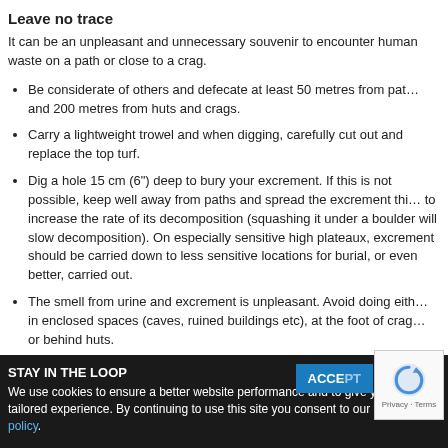Leave no trace
It can be an unpleasant and unnecessary souvenir to encounter human waste on a path or close to a crag.
Be considerate of others and defecate at least 50 metres from paths and 200 metres from huts and crags.
Carry a lightweight trowel and when digging, carefully cut out and replace the top turf.
Dig a hole 15 cm (6") deep to bury your excrement. If this is not possible, keep well away from paths and spread the excrement thinly to increase the rate of its decomposition (squashing it under a boulder will slow decomposition). On especially sensitive high plateaux, excrement should be carried down to less sensitive locations for burial, or even better, carried out.
The smell from urine and excrement is unpleasant. Avoid doing either in enclosed spaces (caves, ruined buildings etc), at the foot of crags or behind huts.
Consider using a ‘pee bottle’.
down into the soil. Give a thought to the consequences ...
Toilet paper and female sanitary towels are slow to decompose and may ...
STAY IN THE LOOP
We use cookies to ensure a better website performance and to give you a more tailored experience. By continuing to use this site you consent to our cookie policy.